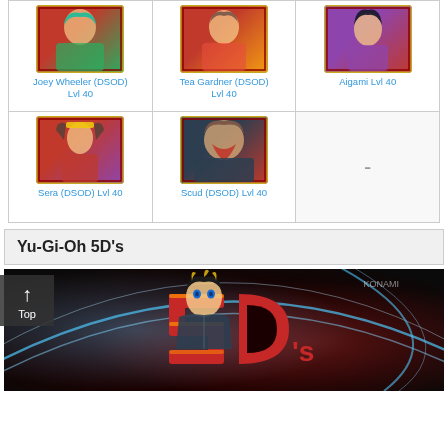[Figure (illustration): Yu-Gi-Oh Duel Links character card grid showing Joey Wheeler (DSOD) Lvl 40, Tea Gardner (DSOD) Lvl 40, Aigami Lvl 40, Sera (DSOD) Lvl 40, Scud (DSOD) Lvl 40, and one empty cell]
Joey Wheeler (DSOD) Lvl 40
Tea Gardner (DSOD) Lvl 40
Aigami Lvl 40
Sera (DSOD) Lvl 40
Scud (DSOD) Lvl 40
Yu-Gi-Oh 5D's
[Figure (illustration): Yu-Gi-Oh 5D's promotional banner showing the 5D's logo with a character and dramatic lighting effects]